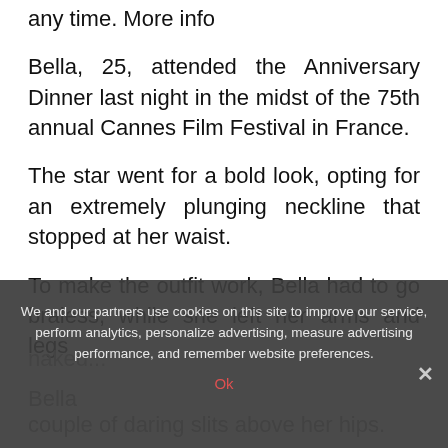any time. More info
Bella, 25, attended the Anniversary Dinner last night in the midst of the 75th annual Cannes Film Festival in France.
The star went for a bold look, opting for an extremely plunging neckline that stopped at her waist.
To make the outfit work, Bella had to go braless, while she left her arms and legs
Bella...
couple of daring slits above her hips.
We and our partners use cookies on this site to improve our service, perform analytics, personalize advertising, measure advertising performance, and remember website preferences.
Ok